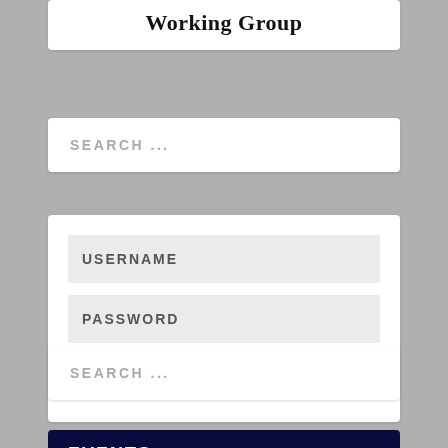Working Group
SEARCH ...
USERNAME
PASSWORD
LOGIN
Lost my Password
SEARCH ...
EVENTS.